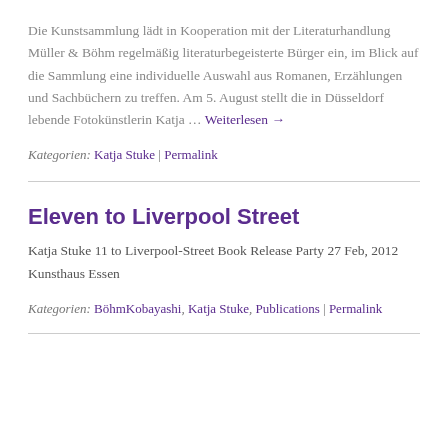Die Kunstsammlung lädt in Kooperation mit der Literaturhandlung Müller & Böhm regelmäßig literaturbegeisterte Bürger ein, im Blick auf die Sammlung eine individuelle Auswahl aus Romanen, Erzählungen und Sachbüchern zu treffen. Am 5. August stellt die in Düsseldorf lebende Fotokünstlerin Katja … Weiterlesen →
Kategorien: Katja Stuke | Permalink
Eleven to Liverpool Street
Katja Stuke 11 to Liverpool-Street Book Release Party 27 Feb, 2012 Kunsthaus Essen
Kategorien: BöhmKobayashi, Katja Stuke, Publications | Permalink